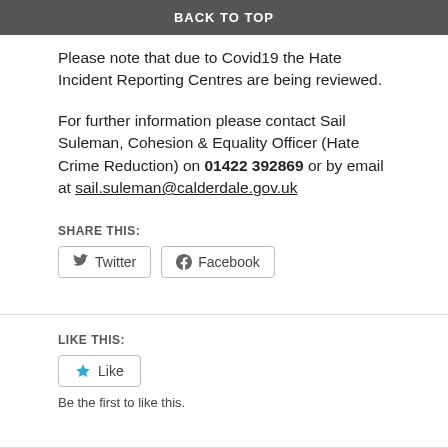BACK TO TOP
Please note that due to Covid19 the Hate Incident Reporting Centres are being reviewed.
For further information please contact Sail Suleman, Cohesion & Equality Officer (Hate Crime Reduction) on 01422 392869 or by email at sail.suleman@calderdale.gov.uk
SHARE THIS:
LIKE THIS:
Be the first to like this.